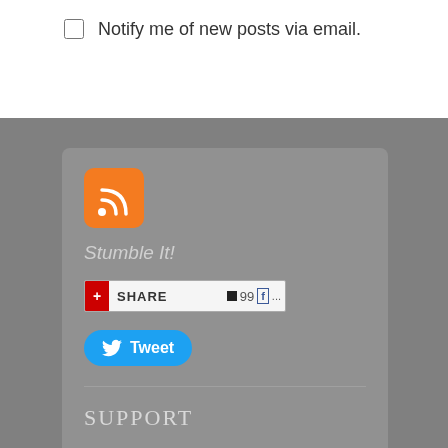Notify me of new posts via email.
[Figure (logo): RSS feed orange icon with white wifi-style signal waves]
Stumble It!
[Figure (screenshot): Share button bar with red plus icon, SHARE label, and social icons including Facebook]
[Figure (screenshot): Blue Tweet button with Twitter bird icon]
SUPPORT
Donate Via PayPal to Support Independent Environmental Journalism and receive personal updates